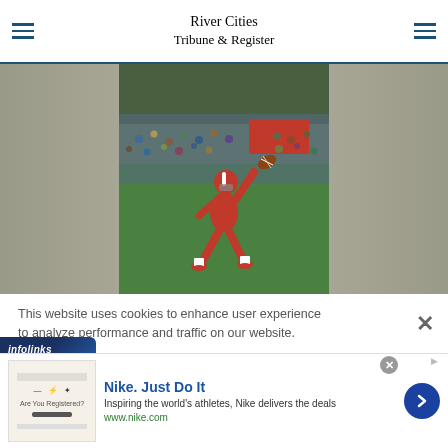River Cities Tribune & Register
[Figure (photo): Football player in red uniform throwing a pass on a green field with crowd in background]
This website uses cookies to enhance user experience to analyze performance and traffic on our website.
[Figure (logo): infolinks logo in dark blue rounded rectangle]
[Figure (screenshot): Nike advertisement: Nike. Just Do It — Inspiring the world's athletes, Nike delivers the deals — www.nike.com]